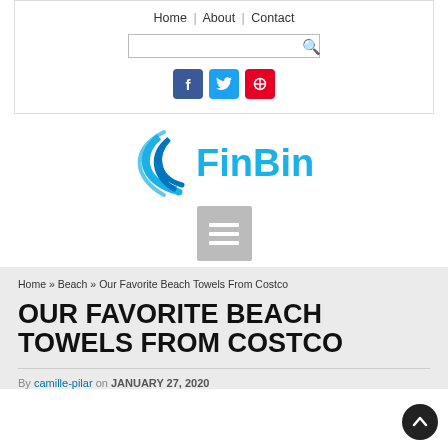Home | About | Contact
[Figure (logo): FinBin logo with blue wave/swoosh icon and 'FinBin' text in blue]
[Figure (infographic): Hamburger/menu icon with three white bars on grey background]
Home » Beach » Our Favorite Beach Towels From Costco
OUR FAVORITE BEACH TOWELS FROM COSTCO
By camille-pilar on JANUARY 27, 2020